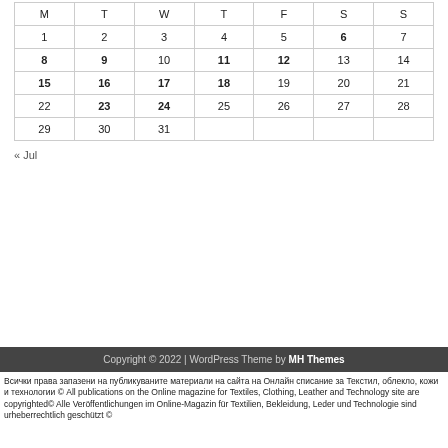| M | T | W | T | F | S | S |
| --- | --- | --- | --- | --- | --- | --- |
| 1 | 2 | 3 | 4 | 5 | 6 | 7 |
| 8 | 9 | 10 | 11 | 12 | 13 | 14 |
| 15 | 16 | 17 | 18 | 19 | 20 | 21 |
| 22 | 23 | 24 | 25 | 26 | 27 | 28 |
| 29 | 30 | 31 |  |  |  |  |
« Jul
Copyright © 2022 | WordPress Theme by MH Themes
Всички права запазени на публикуваните материали на сайта на Онлайн списание за Текстил, облекло, кожи и технологии © All publications on the Online magazine for Textiles, Clothing, Leather and Technology site are copyrighted© Alle Veröffentlichungen im Online-Magazin für Textilien, Bekleidung, Leder und Technologie sind urheberrechtlich geschützt ©